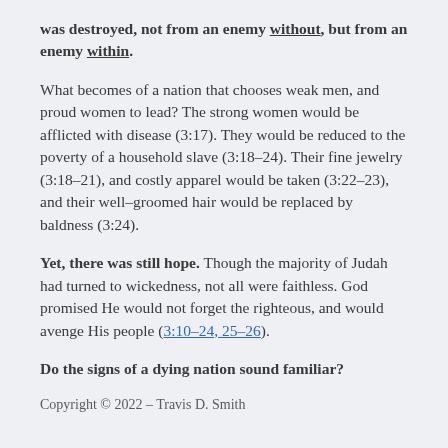was destroyed, not from an enemy without, but from an enemy within.
What becomes of a nation that chooses weak men, and proud women to lead? The strong women would be afflicted with disease (3:17). They would be reduced to the poverty of a household slave (3:18–24). Their fine jewelry (3:18–21), and costly apparel would be taken (3:22–23), and their well–groomed hair would be replaced by baldness (3:24).
Yet, there was still hope. Though the majority of Judah had turned to wickedness, not all were faithless. God promised He would not forget the righteous, and would avenge His people (3:10–24, 25–26).
Do the signs of a dying nation sound familiar?
Copyright © 2022 – Travis D. Smith